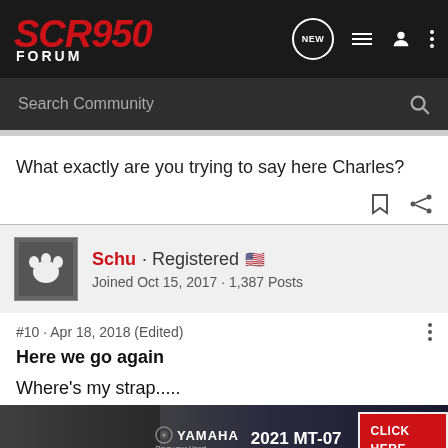SCR950 FORUM
Search Community
What exactly are you trying to say here Charles?
Schu · Registered
Joined Oct 15, 2017 · 1,387 Posts
#10 · Apr 18, 2018 (Edited)
Here we go again
Where's my strap.....
[Figure (screenshot): Yamaha 2021 MT-07 advertisement banner with CLICK HERE button]